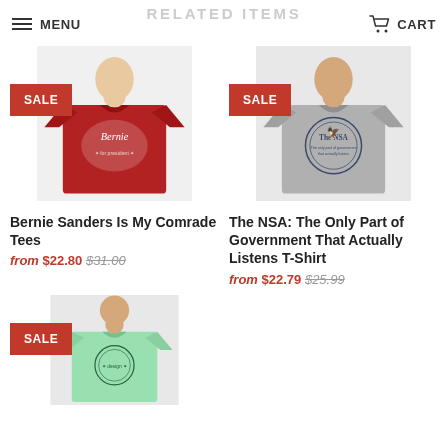MENU | RELATED ITEMS | CART
[Figure (photo): Red t-shirt with Bernie Sanders design, SALE badge overlay]
[Figure (photo): Grey t-shirt with NSA logo design, SALE badge overlay]
Bernie Sanders Is My Comrade Tees
from $22.80 $31.00
The NSA: The Only Part of Government That Actually Listens T-Shirt
from $22.79 $25.99
[Figure (photo): Mint green t-shirt with design, SALE badge overlay]